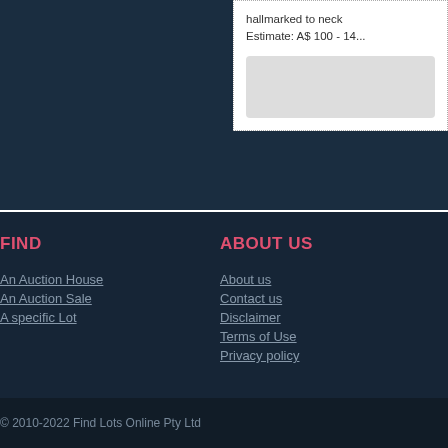hallmarked to neck
Estimate: A$ 100 - 14...
FIND
ABOUT US
An Auction House
An Auction Sale
A specific Lot
About us
Contact us
Disclaimer
Terms of Use
Privacy policy
© 2010-2022 Find Lots Online Pty Ltd